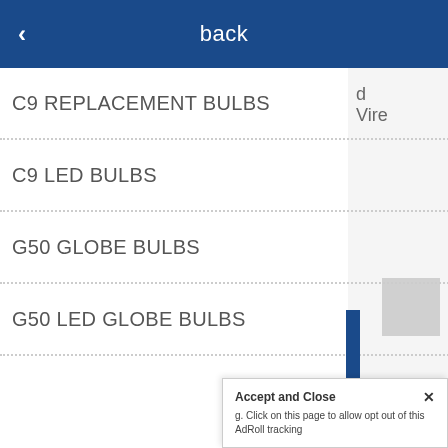back
C9 REPLACEMENT BULBS
C9 LED BULBS
G50 GLOBE BULBS
G50 LED GLOBE BULBS
C7 REPLACEMENT BULBS
C7 LED BULBS
S14 BULBS - MEDIUM BASE (E26)
S14 LED BULBS - MEDIUM BASE (E26)
Accept and Close ✕ g. Click on this page to allow opt out of this AdRoll tracking